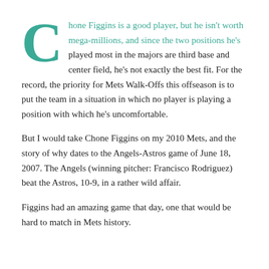Chone Figgins is a good player, but he isn't worth mega-millions, and since the two positions he's played most in the majors are third base and center field, he's not exactly the best fit. For the record, the priority for Mets Walk-Offs this offseason is to put the team in a situation in which no player is playing a position with which he's uncomfortable.
But I would take Chone Figgins on my 2010 Mets, and the story of why dates to the Angels-Astros game of June 18, 2007. The Angels (winning pitcher: Francisco Rodriguez) beat the Astros, 10-9, in a rather wild affair.
Figgins had an amazing game that day, one that would be hard to match in Mets history.